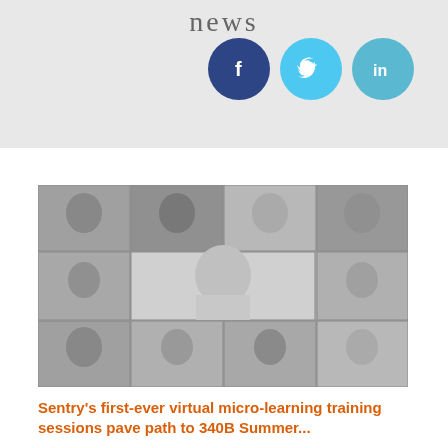news
[Figure (other): Social media icons: Facebook (dark blue circle with 'f'), Twitter (light blue circle with bird icon), LinkedIn (teal circle with 'in')]
[Figure (photo): Black and white grid photo of multiple people on a virtual video call/meeting, showing various individuals in different panel windows, resembling a virtual conference call layout.]
Sentry's first-ever virtual micro-learning training sessions pave path to 340B Summer...